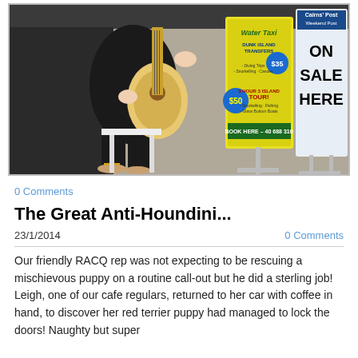[Figure (photo): Person sitting on a stool playing an acoustic guitar, wearing a black outfit and gold sandals. In the background are two promotional signs: one for 'Water Taxi' with Dunk Island transfers ($35) and 3-hour island tour ($50), and another sign reading 'Cairns Post Weekend Post ON SALE HERE'.]
0 Comments
The Great Anti-Houndini...
23/1/2014
0 Comments
Our friendly RACQ rep was not expecting to be rescuing a mischievous puppy on a routine call-out but he did a sterling job! Leigh, one of our cafe regulars, returned to her car with coffee in hand, to discover her red terrier puppy had managed to lock the doors! Naughty but super